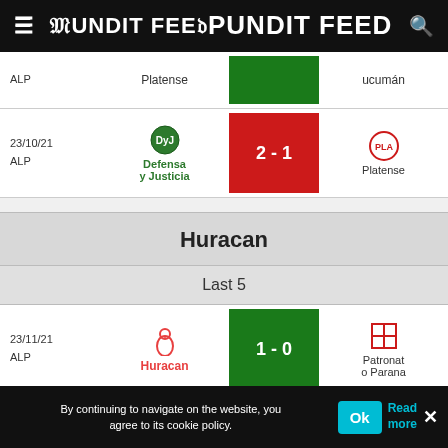Pundit Feed
| Date/League | Home Team | Score | Away Team |
| --- | --- | --- | --- |
| ALP | Platense |  | ucumán |
| 23/10/21 ALP | Defensa y Justicia | 2 - 1 | Platense |
Huracan
Last 5
| Date/League | Home Team | Score | Away Team |
| --- | --- | --- | --- |
| 23/11/21 ALP | Huracan | 1 - 0 | Patronato Parana |
| 19/11/21 ALP | Estudiantes LP | 4 - 1 | Huracan |
By continuing to navigate on the website, you agree to its cookie policy.